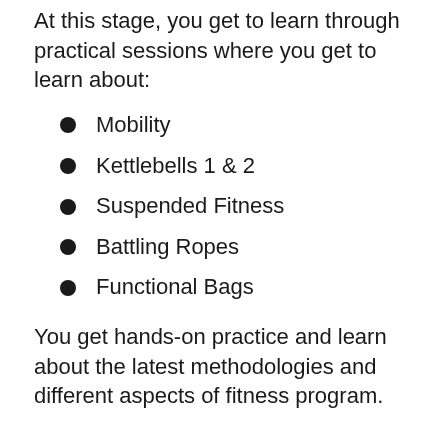At this stage, you get to learn through practical sessions where you get to learn about:
Mobility
Kettlebells 1 & 2
Suspended Fitness
Battling Ropes
Functional Bags
You get hands-on practice and learn about the latest methodologies and different aspects of fitness program.